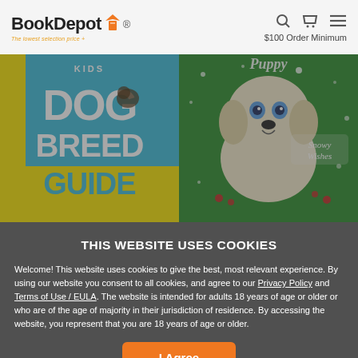BookDepot — The lowest selection price — $100 Order Minimum
[Figure (screenshot): Two book covers side by side: left is National Geographic Kids Dog Breed Guide (blue and yellow cover), right is a puppy Christmas book with 'Snowy Wishes' subtitle showing a yellow Labrador puppy on a green glittery cover.]
THIS WEBSITE USES COOKIES
Welcome! This website uses cookies to give the best, most relevant experience. By using our website you consent to all cookies, and agree to our Privacy Policy and Terms of Use / EULA. The website is intended for adults 18 years of age or older or who are of the age of majority in their jurisdiction of residence. By accessing the website, you represent that you are 18 years of age or older.
I Agree
Library Binding
Juvenile Nonfiction
ISBN: 9781426334457
Hardcover
Children Fiction
ISBN: 9781419651299